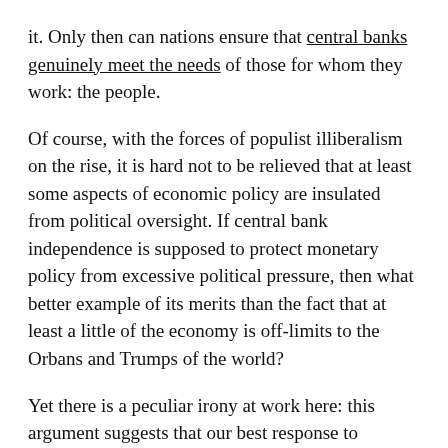it. Only then can nations ensure that central banks genuinely meet the needs of those for whom they work: the people.
Of course, with the forces of populist illiberalism on the rise, it is hard not to be relieved that at least some aspects of economic policy are insulated from political oversight. If central bank independence is supposed to protect monetary policy from excessive political pressure, then what better example of its merits than the fact that at least a little of the economy is off-limits to the Orbans and Trumps of the world?
Yet there is a peculiar irony at work here: this argument suggests that our best response to illiberal tendencies is an equally illiberal strategy of excluding monetary policies from democratic accountability. Although technocratic exceptionalism is tempting, especially in the face of the threat of illiberal democracy, it is also quite dangerous, since